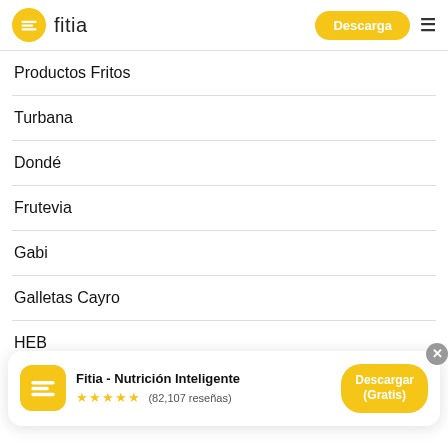fitia — Descarga
Productos Fritos
Turbana
Dondé
Frutevia
Gabi
Galletas Cayro
HEB
[Figure (screenshot): App download banner: Fitia - Nutrición Inteligente, 5 stars, (82,107 reseñas), Descargar (Gratis) button]
Kurumaya